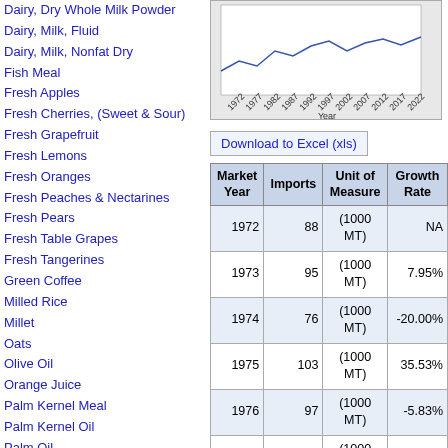Dairy, Dry Whole Milk Powder
Dairy, Milk, Fluid
Dairy, Milk, Nonfat Dry
Fish Meal
Fresh Apples
Fresh Cherries, (Sweet & Sour)
Fresh Grapefruit
Fresh Lemons
Fresh Oranges
Fresh Peaches & Nectarines
Fresh Pears
Fresh Table Grapes
Fresh Tangerines
Green Coffee
Milled Rice
Millet
Oats
Olive Oil
Orange Juice
Palm Kernel Meal
Palm Kernel Oil
Palm Oil
Peanut Meal
Peanut Oil
Peanut Oilseed
[Figure (line-chart): Time series chart with years 1972-2022 on x-axis, partially visible at top of right panel]
Download to Excel (xls)
| Market Year | Imports | Unit of Measure | Growth Rate |
| --- | --- | --- | --- |
| 1972 | 88 | (1000 MT) | NA |
| 1973 | 95 | (1000 MT) | 7.95% |
| 1974 | 76 | (1000 MT) | -20.00% |
| 1975 | 103 | (1000 MT) | 35.53% |
| 1976 | 97 | (1000 MT) | -5.83% |
| 1977 | 86 | (1000 MT) | -11.34% |
| 1978 | 98 | (1000 MT) | 13.95% |
| 1979 | 95 | (1000 MT) | -3.06% |